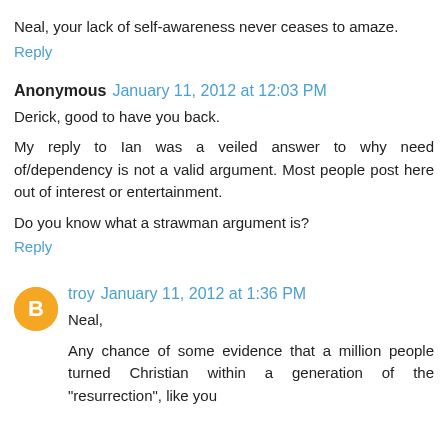Neal, your lack of self-awareness never ceases to amaze.
Reply
Anonymous  January 11, 2012 at 12:03 PM
Derick, good to have you back.
My reply to Ian was a veiled answer to why need of/dependency is not a valid argument. Most people post here out of interest or entertainment.
Do you know what a strawman argument is?
Reply
troy  January 11, 2012 at 1:36 PM
Neal,
Any chance of some evidence that a million people turned Christian within a generation of the "resurrection", like you